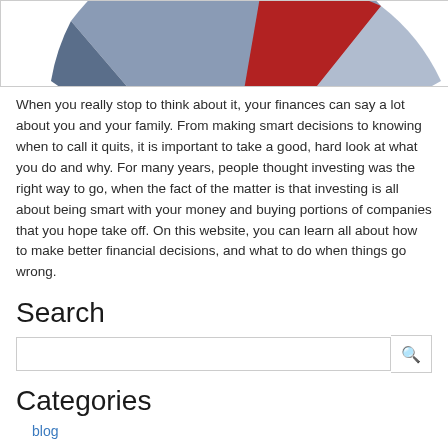[Figure (pie-chart): Partial pie/donut chart visible at top of page, showing blue-gray and red segments]
When you really stop to think about it, your finances can say a lot about you and your family. From making smart decisions to knowing when to call it quits, it is important to take a good, hard look at what you do and why. For many years, people thought investing was the right way to go, when the fact of the matter is that investing is all about being smart with your money and buying portions of companies that you hope take off. On this website, you can learn all about how to make better financial decisions, and what to do when things go wrong.
Search
[Figure (other): Search input box with magnifying glass icon button]
Categories
blog
Archive